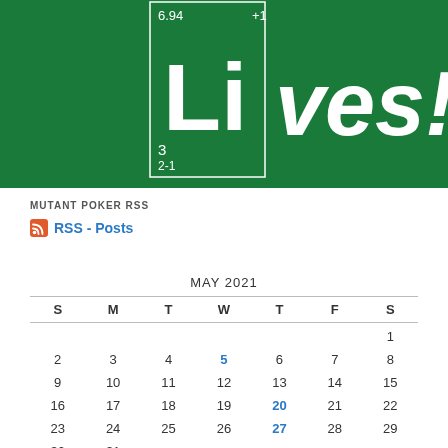[Figure (illustration): Dark green banner showing a periodic table element box for Lithium (Li) with atomic number 3, mass 6.94, electron config 2-1, charge +1, followed by the text 'ves!' forming 'Li ves!' (Lithium Lives!)]
MUTANT POKER RSS
RSS - Posts
| S | M | T | W | T | F | S |
| --- | --- | --- | --- | --- | --- | --- |
|  |  |  |  |  |  | 1 |
| 2 | 3 | 4 | 5 | 6 | 7 | 8 |
| 9 | 10 | 11 | 12 | 13 | 14 | 15 |
| 16 | 17 | 18 | 19 | 20 | 21 | 22 |
| 23 | 24 | 25 | 26 | 27 | 28 | 29 |
| 30 | 31 |  |  |  |  |  |